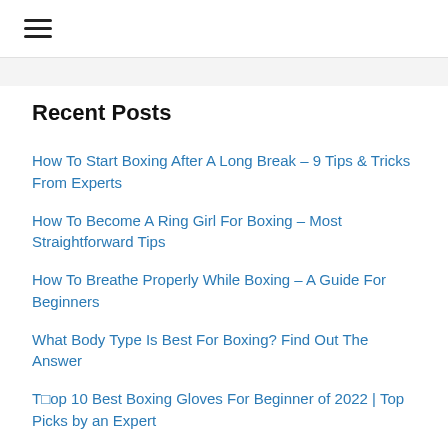☰
Recent Posts
How To Start Boxing After A Long Break – 9 Tips & Tricks From Experts
How To Become A Ring Girl For Boxing – Most Straightforward Tips
How To Breathe Properly While Boxing – A Guide For Beginners
What Body Type Is Best For Boxing? Find Out The Answer
T□op 10 Best Boxing Gloves For Beginner of 2022 | Top Picks by an Expert